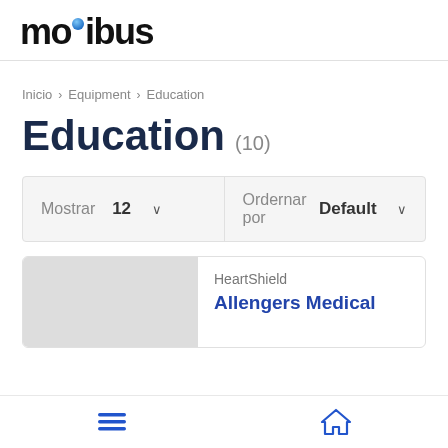[Figure (logo): Motibus logo with blue dot over the letter i]
Inicio › Equipment › Education
Education (10)
Mostrar 12 ∨   Ordernar por  Default ∨
HeartShield
Allengers Medical
≡   ⌂